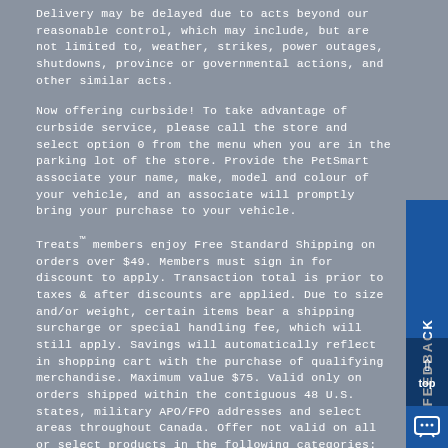Delivery may be delayed due to acts beyond our reasonable control, which may include, but are not limited to, weather, strikes, power outages, shutdowns, province or governmental actions, and other similar acts.
Now offering curbside! To take advantage of curbside service, please call the store and select option 0 from the menu when you are in the parking lot of the store. Provide the PetSmart associate your name, make, model and colour of your vehicle, and an associate will promptly bring your purchase to your vehicle.
Treats™ members enjoy Free Standard Shipping on orders over $49. Members must sign in for discount to apply. Transaction total is prior to taxes & after discounts are applied. Due to size and/or weight, certain items bear a shipping surcharge or special handling fee, which will still apply. Savings will automatically reflect in shopping cart with the purchase of qualifying merchandise. Maximum value $75. Valid only on orders shipped within the contiguous 48 U.S. states, military APO/FPO addresses and select areas throughout Canada. Offer not valid on all or select products in the following categories: live pets; canned, fresh or frozen foods; select cat litters. Offer may not be combined with other promotional offers or discounts. Terms and conditions of this offer are subject to change at the sole discretion of PetSmart.